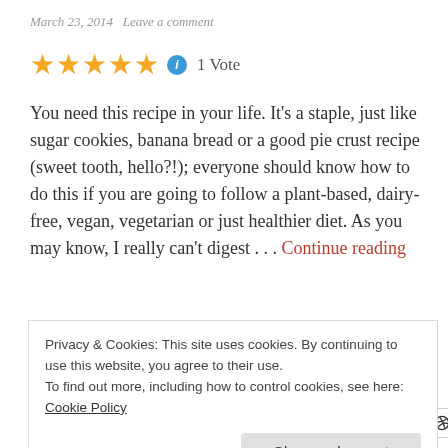March 23, 2014   Leave a comment
★★★★★ ⓘ 1 Vote
You need this recipe in your life. It's a staple, just like sugar cookies, banana bread or a good pie crust recipe (sweet tooth, hello?!); everyone should know how to do this if you are going to follow a plant-based, dairy-free, vegan, vegetarian or just healthier diet. As you may know, I really can't digest . . . Continue reading
SHARE!
Privacy & Cookies: This site uses cookies. By continuing to use this website, you agree to their use. To find out more, including how to control cookies, see here: Cookie Policy
Close and accept